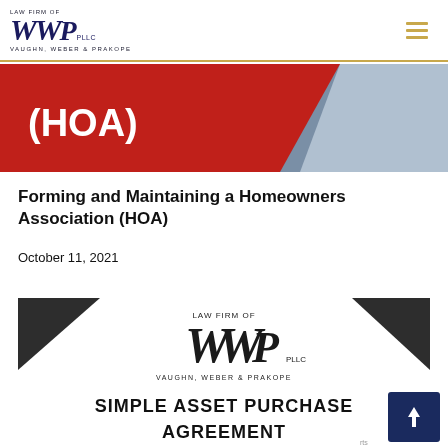LAW FIRM OF WWP PLLC VAUGHN, WEBER & PRAKOPE
[Figure (illustration): Red and blue/grey diagonal banner with white text showing '(HOA)']
Forming and Maintaining a Homeowners Association (HOA)
October 11, 2021
[Figure (illustration): Document preview showing Law Firm of WWP PLLC Vaughn, Weber & Prakope logo with 'SIMPLE ASSET PURCHASE AGREEMENT' title, flanked by dark triangular corner decorations]